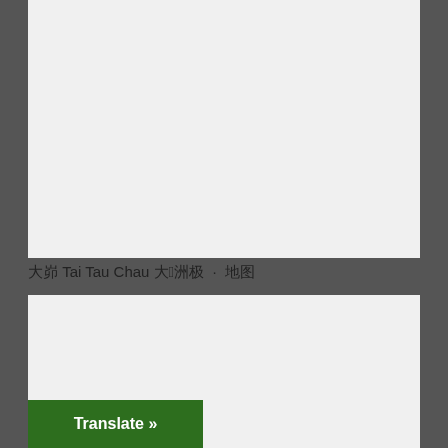[Figure (photo): A large light gray rectangular placeholder image area at the top of the page]
大嶼 Tai Tau Chau 大頭洲 · 地圖
[Figure (photo): A second light gray rectangular placeholder image area below the caption]
Translate »